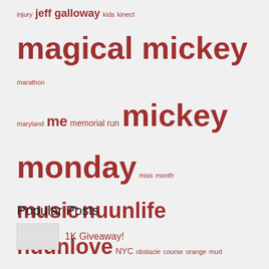[Figure (infographic): Tag cloud with running/fitness related words in varying sizes and dark red color. Larger words include: magical mickey, mickey monday, music, nuunlife, nuunlove, race, review, round up, run injury free, run walk run, runDisney, schedule, shoes, star wars, summer, training, walt disney world. Smaller words include: injury, jeff galloway, kids, kinect, marathon, maryland, me, memorial run, miss, month, NYC, obstacle course, orange mud, outside, pages, pennsylvania, photos, plan, playlist, podcast, preview, princess, rain, recipe, rides, rock n roll, run, runners world, safety, sale, sore, stats, sunglasses, team nuun, tech, tinker bell, tips, travel, trip, under armor, update, video, virginia, voxbox, wdw marathon, weekend, weight watchers, winner, winter, xx2i]
Popular Posts
1K Giveaway!